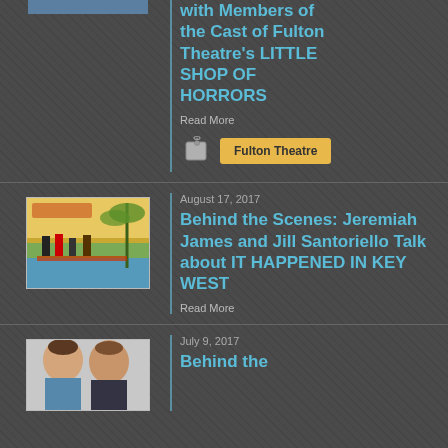[Figure (photo): Partial thumbnail image visible at top of page, dark colored]
with Members of the Cast of Fulton Theatre's LITTLE SHOP OF HORRORS
Read More
Fulton Theatre
August 17, 2017
[Figure (photo): Postcard-style image for Key West article, showing figures on a red carpet with tropical background]
Behind the Scenes: Jeremiah James and Jill Santoriello Talk about IT HAPPENED IN KEY WEST
Read More
July 9, 2017
[Figure (photo): Two people photographed, partial view at bottom of page]
Behind the